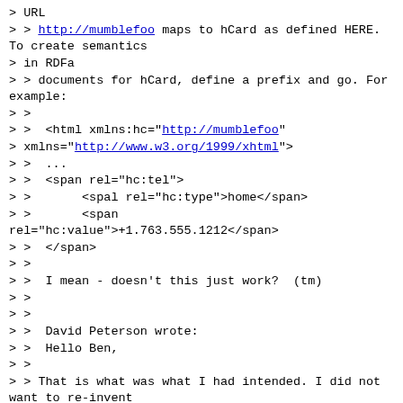> URL
> > http://mumblefoo maps to hCard as defined HERE.  To create semantics
> in RDFa
> > documents for hCard, define a prefix and go. For example:
> >
> >  <html xmlns:hc="http://mumblefoo"
> xmlns="http://www.w3.org/1999/xhtml">
> >  ...
> >  <span rel="hc:tel">
> >       <spal rel="hc:type">home</span>
> >       <span
rel="hc:value">+1.763.555.1212</span>
> >  </span>
> >
> >  I mean - doesn't this just work?  (tm)
> >
> >
> >  David Peterson wrote:
> >  Hello Ben,
> >
> > That is what was what I had intended. I did not want to re-invent
> anything,
> > just wanted to highlight a XFN to RDFa mapping. I was giving an
> example from
> > the XFN microformat [1].